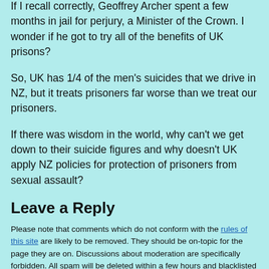If I recall correctly, Geoffrey Archer spent a few months in jail for perjury, a Minister of the Crown. I wonder if he got to try all of the benefits of UK prisons?
So, UK has 1/4 of the men's suicides that we drive in NZ, but it treats prisoners far worse than we treat our prisoners.
If there was wisdom in the world, why can't we get down to their suicide figures and why doesn't UK apply NZ policies for protection of prisoners from sexual assault?
Leave a Reply
Please note that comments which do not conform with the rules of this site are likely to be removed. They should be on-topic for the page they are on. Discussions about moderation are specifically forbidden. All spam will be deleted within a few hours and blacklisted on the stopforumspam database.
This site is cached. Comments will not appear immediately unless you are logged in. Please do not make multiple attempts.